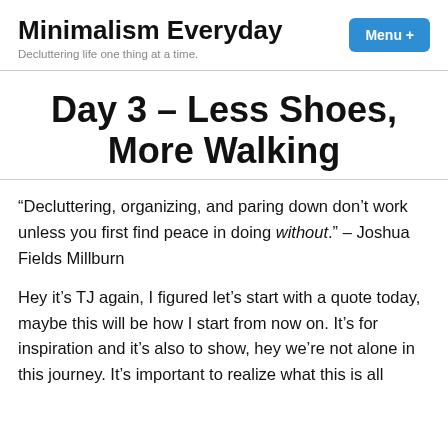Minimalism Everyday — Decluttering life one thing at a time.
Day 3 – Less Shoes, More Walking
“Decluttering, organizing, and paring down don’t work unless you first find peace in doing without.” – Joshua Fields Millburn
Hey it’s TJ again, I figured let’s start with a quote today, maybe this will be how I start from now on. It’s for inspiration and it’s also to show, hey we’re not alone in this journey. It’s important to realize what this is all